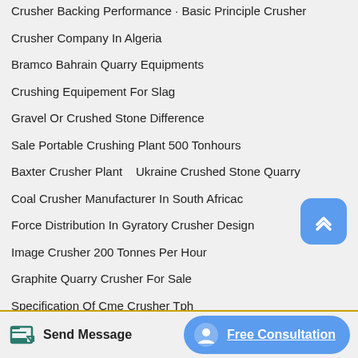Crusher Backing Performance  ·  Basic Principle Crusher
Crusher Company In Algeria
Bramco Bahrain Quarry Equipments
Crushing Equipement For Slag
Gravel Or Crushed Stone Difference
Sale Portable Crushing Plant 500 Tonhours
Baxter Crusher Plant   Ukraine Crushed Stone Quarry
Coal Crusher Manufacturer In South Africac
Force Distribution In Gyratory Crusher Design
Image Crusher 200 Tonnes Per Hour
Graphite Quarry Crusher For Sale
Specification Of Cme Crusher Tph
Jamaica Granite Crusher Plant Factory
Send Message   Free Consultation